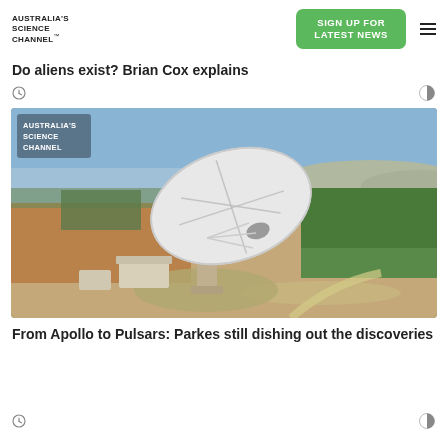AUSTRALIA'S SCIENCE CHANNEL
Do aliens exist? Brian Cox explains
[Figure (photo): Aerial photograph of the Parkes radio telescope (The Dish) surrounded by trees and flat agricultural land under a blue sky, with Australia's Science Channel logo overlay in top-left corner]
From Apollo to Pulsars: Parkes still dishing out the discoveries